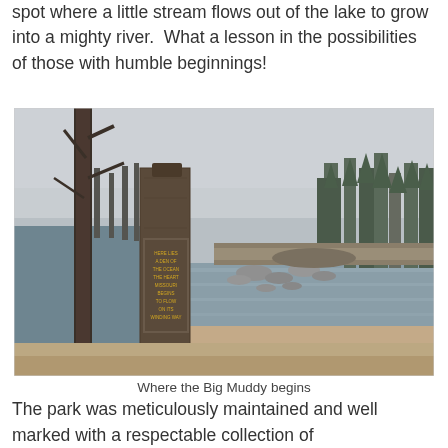spot where a little stream flows out of the lake to grow into a mighty river.  What a lesson in the possibilities of those with humble beginnings!
[Figure (photo): Outdoor photo showing a wooden post/sign marker in the foreground near a small stream or lake outlet, with rocks and sandy shore, bare trees and evergreen forest in the background under an overcast sky.]
Where the Big Muddy begins
The park was meticulously maintained and well marked with a respectable collection of